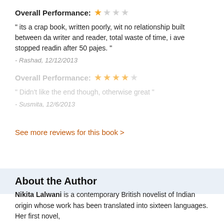Overall Performance: ★☆☆☆
" its a crap book, written poorly, wit no relationship built between da writer and reader, total waste of time, i ave stopped readin after 50 pajes. "
- Rashad, 12/12/2013
Overall Performance: ★★★★☆
" Didn't like the end though, otherwise great "
- Susmita, 12/6/2013
See more reviews for this book >
About the Author
Nikita Lalwani is a contemporary British novelist of Indian origin whose work has been translated into sixteen languages. Her first novel,